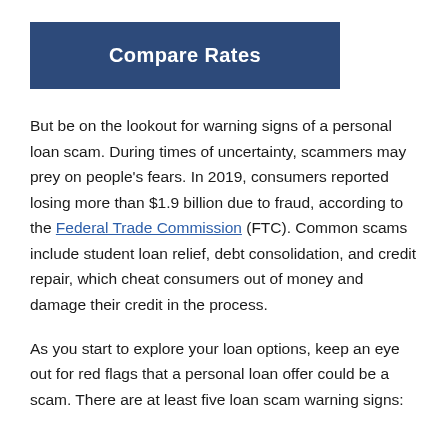[Figure (other): Blue button labeled 'Compare Rates']
But be on the lookout for warning signs of a personal loan scam. During times of uncertainty, scammers may prey on people's fears. In 2019, consumers reported losing more than $1.9 billion due to fraud, according to the Federal Trade Commission (FTC). Common scams include student loan relief, debt consolidation, and credit repair, which cheat consumers out of money and damage their credit in the process.
As you start to explore your loan options, keep an eye out for red flags that a personal loan offer could be a scam. There are at least five loan scam warning signs: